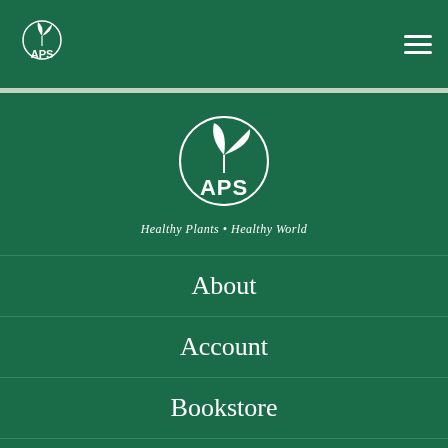APS - Healthy Plants · Healthy World
[Figure (logo): APS logo with plant/leaves icon and text 'APS' centered, tagline 'Healthy Plants • Healthy World']
About
Account
Bookstore
Careers
Advertise